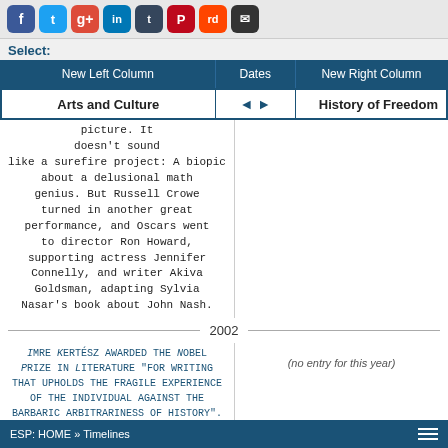[Figure (other): Social media sharing icons: Facebook, Twitter, Google+, LinkedIn, Tumblr, Pinterest, Reddit, Email]
Select:
| New Left Column | Dates | New Right Column |
| --- | --- | --- |
| Arts and Culture | ◄ ► | History of Freedom |
picture. It doesn't sound like a surefire project: A biopic about a delusional math genius. But Russell Crowe turned in another great performance, and Oscars went to director Ron Howard, supporting actress Jennifer Connelly, and writer Akiva Goldsman, adapting Sylvia Nasar's book about John Nash.
2002
Imre Kertész awarded the Nobel Prize in Literature "for writing that upholds the fragile experience of the individual against the barbaric arbitrariness of history".
(no entry for this year)
Chicago wins Academy Award for best picture
ESP: HOME » Timelines